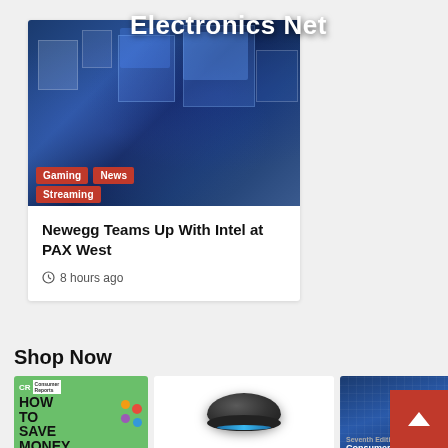Electronics Net
[Figure (photo): Photo of electronics store display with blue-lit technology exhibits]
Gaming
News
Streaming
Newegg Teams Up With Intel at PAX West
8 hours ago
Shop Now
[Figure (photo): Consumer Reports magazine cover - How To Save Money Now]
[Figure (photo): Amazon Echo Dot smart speaker]
[Figure (photo): Consumer Behavior: Building Marketing Strategy textbook cover]